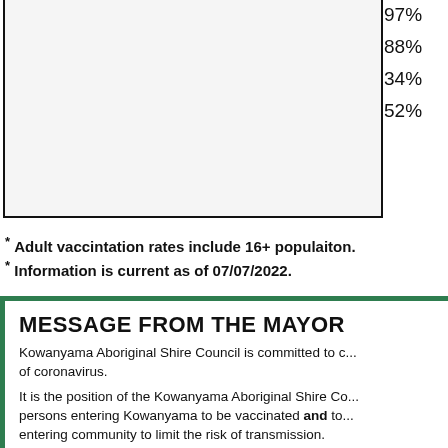[Figure (other): Partial bottom of a table showing percentage values 97%, 88%, 34%, 52% in a right column, with a bordered box on the left]
* Adult vaccintation rates include 16+ populaiton.
* Information is current as of 07/07/2022.
MESSAGE FROM THE MAYOR
Kowanyama Aboriginal Shire Council is committed to c... of coronavirus.
It is the position of the Kowanyama Aboriginal Shire Co... persons entering Kowanyama to be vaccinated and to... entering community to limit the risk of transmission.
Community safety, along with the protection of our vu... the need to travel to Kowanyama at this time.